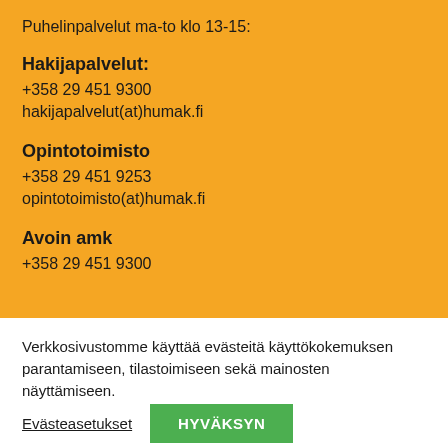Puhelinpalvelut ma-to klo 13-15:
Hakijapalvelut:
+358 29 451 9300
hakijapalvelut(at)humak.fi
Opintotoimisto
+358 29 451 9253
opintotoimisto(at)humak.fi
Avoin amk
Verkkosivustomme käyttää evästeitä käyttökokemuksen parantamiseen, tilastoimiseen sekä mainosten näyttämiseen.
Evästeasetukset
HYVÄKSYN